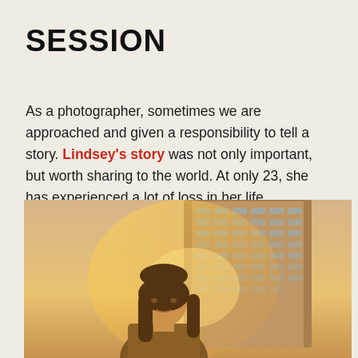SESSION
As a photographer, sometimes we are approached and given a responsibility to tell a story. Lindsey's story was not only important, but worth sharing to the world. At only 23, she has experienced a lot of loss in her life, especially in 2019 with the loss of both and uncle to cancer and a best friend … to murder.
[Figure (photo): A young woman with long dark hair stands outdoors in golden-hour sunlight, looking slightly downward. Behind her is a tall multi-story brick apartment or office building. The image is warmly lit with a sun flare effect.]